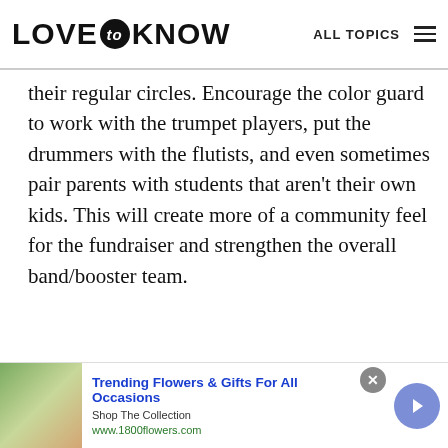LOVE to KNOW  ALL TOPICS
their regular circles. Encourage the color guard to work with the trumpet players, put the drummers with the flutists, and even sometimes pair parents with students that aren't their own kids. This will create more of a community feel for the fundraiser and strengthen the overall band/booster team.
[Figure (screenshot): Wharton Executive Education advertisement banner featuring 'Strategy and Innovation Programs' with a woman in glasses]
[Figure (screenshot): Bottom advertisement banner for 1800flowers.com: 'Trending Flowers & Gifts For All Occasions - Shop The Collection - www.1800flowers.com' with woman holding flowers photo]